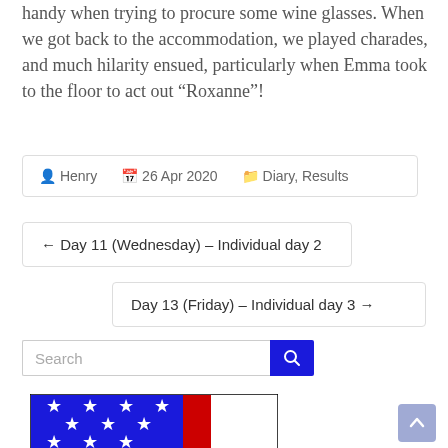handy when trying to procure some wine glasses. When we got back to the accommodation, we played charades, and much hilarity ensued, particularly when Emma took to the floor to act out “Roxanne”!
Henry  |  26 Apr 2020  |  Diary, Results
← Day 11 (Wednesday) – Individual day 2
Day 13 (Friday) – Individual day 3 →
Search
[Figure (illustration): Partial view of a flag image showing blue field with white stars and red vertical stripe on the left portion, white field on the right portion]